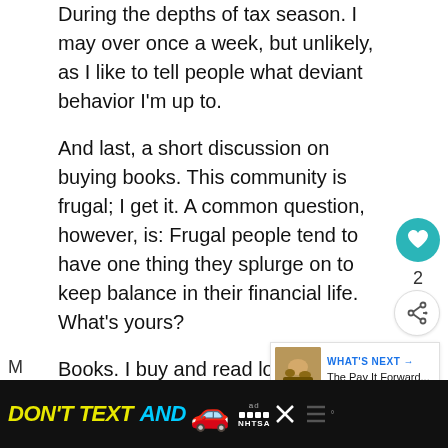During the depths of tax season. I may over once a week, but unlikely, as I like to tell people what deviant behavior I'm up to.
And last, a short discussion on buying books. This community is frugal; I get it. A common question, however, is: Frugal people tend to have one thing they splurge on to keep balance in their financial life. What's yours?
Books. I buy and read lots of books.
I also raid the library on a regular basis, and build my personal library; frugality be damned.
[Figure (screenshot): Like button (heart icon, teal circle), count of 2, and share button]
[Figure (screenshot): What's Next promo box with thumbnail image and text 'The Pay It Forward...']
[Figure (screenshot): Advertisement banner: DON'T TEXT AND [car emoji] with NHTSA logo and close buttons]